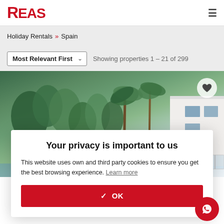REAS
Holiday Rentals » Spain
Most Relevant First   Showing properties 1 – 21 of 299
[Figure (photo): Exterior photo of a modern white villa with palm trees, pool area, and glass balustrade under a blue sky.]
Your privacy is important to us
This website uses own and third party cookies to ensure you get the best browsing experience. Learn more
✓  OK